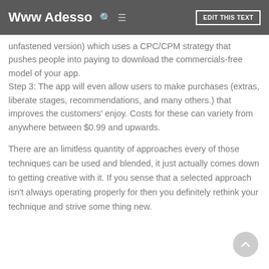Www Adesso  EDIT THIS TEXT
unfastened version) which uses a CPC/CPM strategy that pushes people into paying to download the commercials-free model of your app. Step 3: The app will even allow users to make purchases (extras, liberate stages, recommendations, and many others.) that improves the customers' enjoy. Costs for these can variety from anywhere between $0.99 and upwards.
There are an limitless quantity of approaches every of those techniques can be used and blended, it just actually comes down to getting creative with it. If you sense that a selected approach isn't always operating properly for then you definitely rethink your technique and strive some thing new.